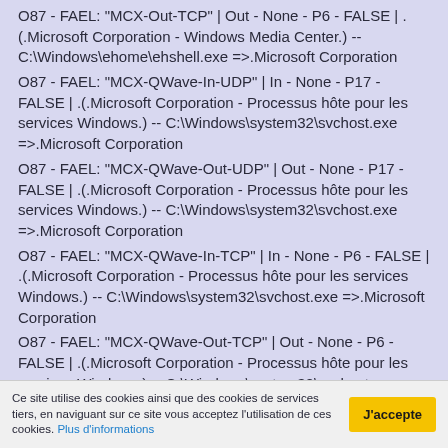O87 - FAEL: "MCX-Out-TCP" | Out - None - P6 - FALSE | .(.Microsoft Corporation - Windows Media Center.) -- C:\Windows\ehome\ehshell.exe =>.Microsoft Corporation
O87 - FAEL: "MCX-QWave-In-UDP" | In - None - P17 - FALSE | .(.Microsoft Corporation - Processus hôte pour les services Windows.) -- C:\Windows\system32\svchost.exe =>.Microsoft Corporation
O87 - FAEL: "MCX-QWave-Out-UDP" | Out - None - P17 - FALSE | .(.Microsoft Corporation - Processus hôte pour les services Windows.) -- C:\Windows\system32\svchost.exe =>.Microsoft Corporation
O87 - FAEL: "MCX-QWave-In-TCP" | In - None - P6 - FALSE | .(.Microsoft Corporation - Processus hôte pour les services Windows.) -- C:\Windows\system32\svchost.exe =>.Microsoft Corporation
O87 - FAEL: "MCX-QWave-Out-TCP" | Out - None - P6 - FALSE | .(.Microsoft Corporation - Processus hôte pour les services Windows.) -- C:\Windows\system32\svchost.exe =>.Microsoft Corporation
Ce site utilise des cookies ainsi que des cookies de services tiers, en naviguant sur ce site vous acceptez l'utilisation de ces cookies. Plus d'informations